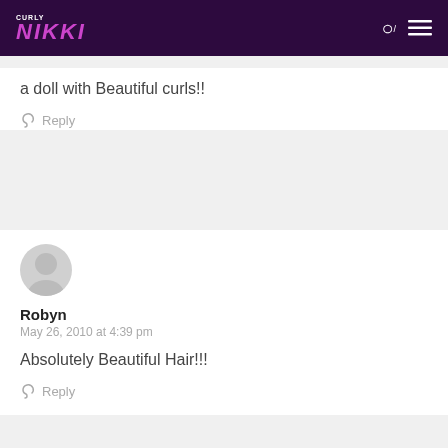CURLY NIKKI
a doll with Beautiful curls!!
Reply
Robyn
May 26, 2010 at 4:39 pm
Absolutely Beautiful Hair!!!
Reply